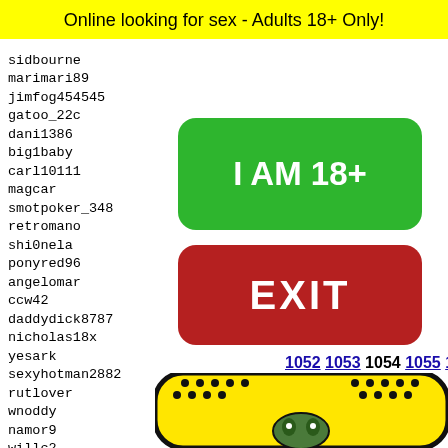Online looking for sex - Adults 18+ Only!
sidbourne
marimari89
jimfog454545
gatoo_22c
dani1386
big1baby
carl10111
magcar
smotpoker_348
retromano
shi0nela
ponyred96
angelomar
ccw42
daddydick8787
nicholas18x
yesark
sexyhotman2882
rutlover
wnoddy
namor9
willc2
bedroo
coinga
qwerty
hzzz_4
[Figure (infographic): Green button reading 'I AM 18+' with rounded corners on green background]
[Figure (infographic): Red button reading 'EXIT' with rounded corners on red background]
1052 1053 1054 1055 1056
[Figure (illustration): Yellow rounded rectangle with black dots pattern and a Snapchat-style ghost/frog face illustration at bottom]